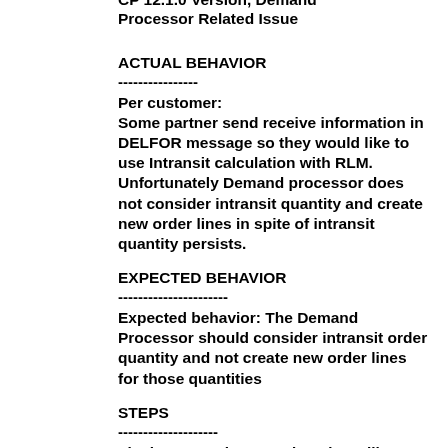CP 12.1.0 Version, Demand Processor Related Issue
ACTUAL BEHAVIOR
----------------
Per customer:
Some partner send receive information in DELFOR message so they would like to use Intransit calculation with RLM. Unfortunately Demand processor does not consider intransit quantity and create new order lines in spite of intransit quantity persists.
EXPECTED BEHAVIOR
----------------------
Expected behavior: The Demand Processor should consider intransit order quantity and not create new order lines for those quantities
STEPS
--------------------
The issue can be reproduced at will